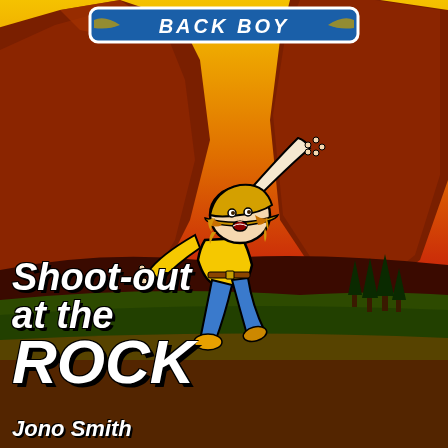[Figure (illustration): Book cover illustration showing a cartoon boy in a yellow shirt and cowboy hat leaping/falling with arms outstretched against a dramatic red rock canyon background with yellow sky. Comic book style art. Series banner at top reads 'BACK BOY' in blue. Boy appears frightened or excited.]
Shoot-out at the ROCK
Jono Smith